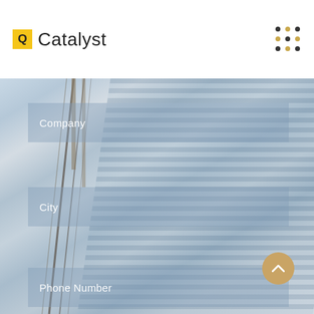Q Catalyst
[Figure (screenshot): Mobile app contact form UI with a skyscraper building background. Form fields visible: Company, City, Phone Number, E-Mail. A gold circular up-arrow button is visible in the lower right.]
Company
City
Phone Number
E-Mail